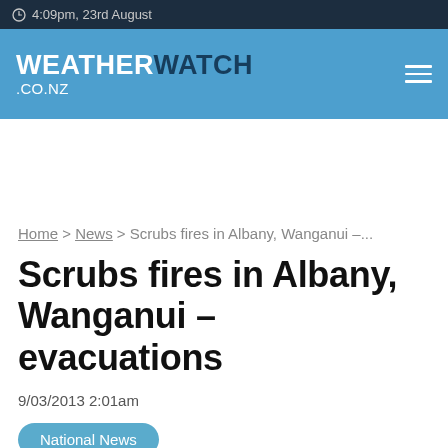4:09pm, 23rd August
[Figure (logo): WeatherWatch.co.nz logo with hamburger menu icon on blue header bar]
Home > News > Scrubs fires in Albany, Wanganui –...
Scrubs fires in Albany, Wanganui – evacuations
9/03/2013 2:01am
National News